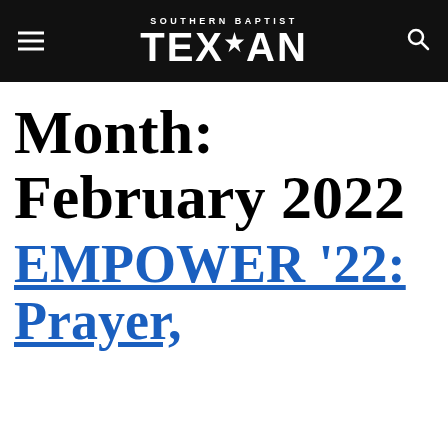SOUTHERN BAPTIST TEXAN
Month: February 2022
EMPOWER '22: Prayer,